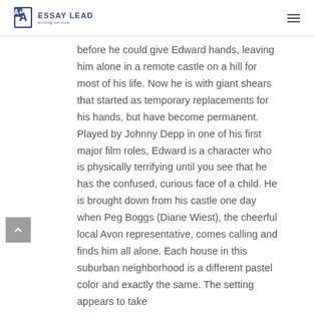ESSAY LEAD writing service
before he could give Edward hands, leaving him alone in a remote castle on a hill for most of his life. Now he is with giant shears that started as temporary replacements for his hands, but have become permanent. Played by Johnny Depp in one of his first major film roles, Edward is a character who is physically terrifying until you see that he has the confused, curious face of a child. He is brought down from his castle one day when Peg Boggs (Diane Wiest), the cheerful local Avon representative, comes calling and finds him all alone. Each house in this suburban neighborhood is a different pastel color and exactly the same. The setting appears to take